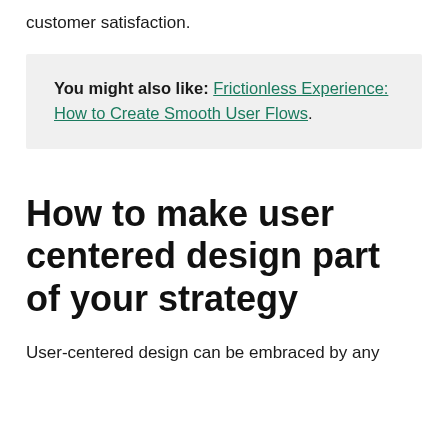customer satisfaction.
You might also like: Frictionless Experience: How to Create Smooth User Flows.
How to make user centered design part of your strategy
User-centered design can be embraced by any